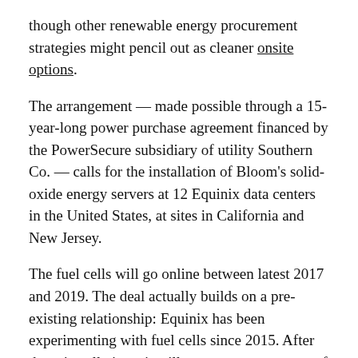though other renewable energy procurement strategies might pencil out as cleaner onsite options.
The arrangement — made possible through a 15-year-long power purchase agreement financed by the PowerSecure subsidiary of utility Southern Co. — calls for the installation of Bloom's solid-oxide energy servers at 12 Equinix data centers in the United States, at sites in California and New Jersey.
The fuel cells will go online between latest 2017 and 2019. The deal actually builds on a pre-existing relationship: Equinix has been experimenting with fuel cells since 2015. After these installations, it will support an aggregate of 40 megawatts of distributed capacity — the biggest commitment so far by any Big Data center provider to fuel cell technology.
For perspective, as of April, Bloom had deployed more than 200 MW in capacity. There are only a handful of projects